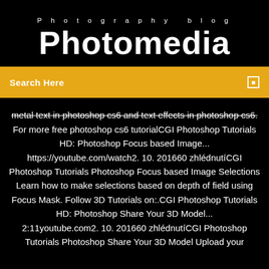Photography blog
Photomedia
Search Here
metal text in photoshop cs6 and text effects in photoshop cs6. For more free photoshop cs6 tutorialCGI Photoshop Tutorials HD: Photoshop Focus based Image... https://youtube.com/watch2. 10. 201660 zhlédnutíCGI Photoshop Tutorials Photoshop Focus based Image Selections Learn how to make selections based on depth of field using Focus Mask. Follow 3D Tutorials on:.CGI Photoshop Tutorials HD: Photoshop Share Your 3D Model... 2:11youtube.com2. 10. 201660 zhlédnutíCGI Photoshop Tutorials Photoshop Share Your 3D Model Upload your